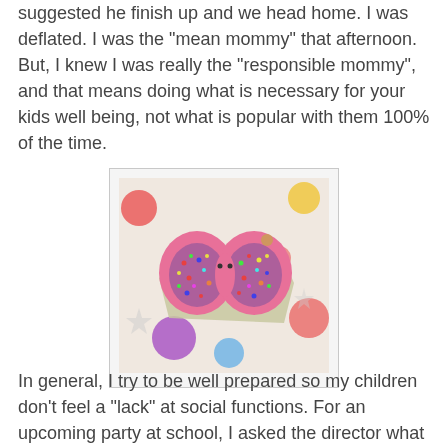suggested he finish up and we head home. I was deflated. I was the "mean mommy" that afternoon. But, I knew I was really the "responsible mommy", and that means doing what is necessary for your kids well being, not what is popular with them 100% of the time.
[Figure (photo): A pink butterfly-shaped cake decorated with colorful sprinkles, sitting on foil on a festive tablecloth with balloons print.]
In general, I try to be well prepared so my children don't feel a "lack" at social functions. For an upcoming party at school, I asked the director what will be served, so if for example they are having chocolate chip cookies, I will try and send in permissible chocolate chip cookies, so they don't feel so different. For birthdays, I like to make really great decorated